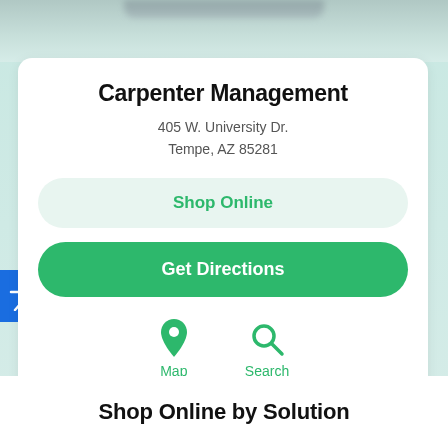Carpenter Management
405 W. University Dr.
Tempe, AZ 85281
Shop Online
Get Directions
Map
Search
Shop Online by Solution